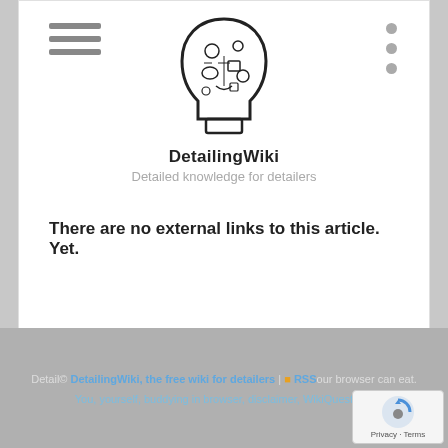[Figure (logo): DetaiingWiki logo: stylized human head silhouette filled with car detailing icons]
DetailingWiki
Detailed knowledge for detailers
There are no external links to this article. Yet.
Privacy Policy
About DetailingWiki
Disclaimer
DetailingWiki, the free wiki for detailers | RSS | ... browser can eat.